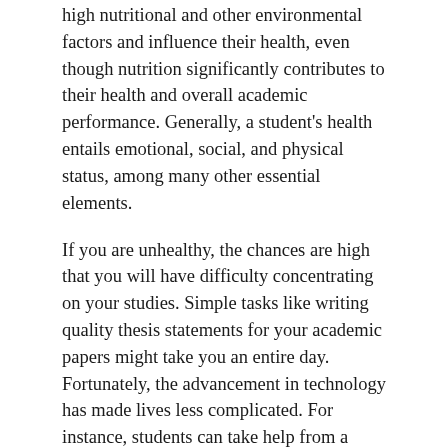high nutritional and other environmental factors and influence their health, even though nutrition significantly contributes to their health and overall academic performance. Generally, a student's health entails emotional, social, and physical status, among many other essential elements.
If you are unhealthy, the chances are high that you will have difficulty concentrating on your studies. Simple tasks like writing quality thesis statements for your academic papers might take you an entire day. Fortunately, the advancement in technology has made lives less complicated. For instance, students can take help from a reputed thesis statement writing company like PeachyEssay. Scholars with poor health have high chances of suffering from poor academic performance, school dropout, and retaining excellent grades. The following are reasons why healthy students are better learners.
THEY ALWAYS MAKE INFORMED AND HEALTHY CHOICES